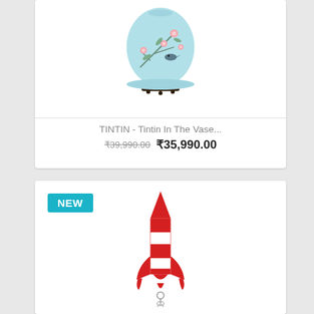[Figure (photo): Tintin decorative vase with light blue background, floral and bird motifs, on a dark wooden stand. Product card with white background.]
TINTIN - Tintin In The Vase...
₹39,990.00 ₹35,990.00
[Figure (photo): Red and white Tintin rocket keychain (Moonrocket shape) with silver keyring chain. NEW badge in teal/cyan top-left.]